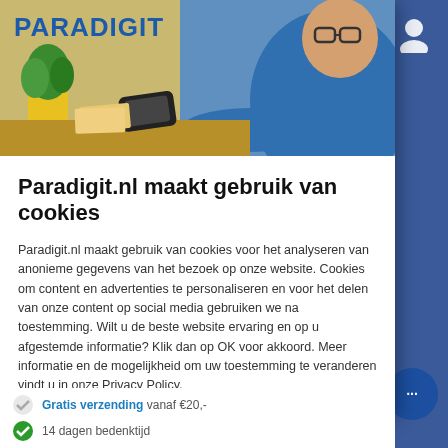[Figure (screenshot): Paradigit website cookie consent modal dialog. Shows the Paradigit logo at top left, a hero image of a man with glasses working at a desk with a plant and phone, and a cookie consent message in Dutch with an OK button.]
Paradigit.nl maakt gebruik van cookies
Paradigit.nl maakt gebruik van cookies voor het analyseren van anonieme gegevens van het bezoek op onze website. Cookies om content en advertenties te personaliseren en voor het delen van onze content op social media gebruiken we na toestemming. Wilt u de beste website ervaring en op u afgestemde informatie? Klik dan op OK voor akkoord. Meer informatie en de mogelijkheid om uw toestemming te veranderen vindt u in onze Privacy Policy.
OK
Gratis verzending vanaf €20,-
14 dagen bedenktijd